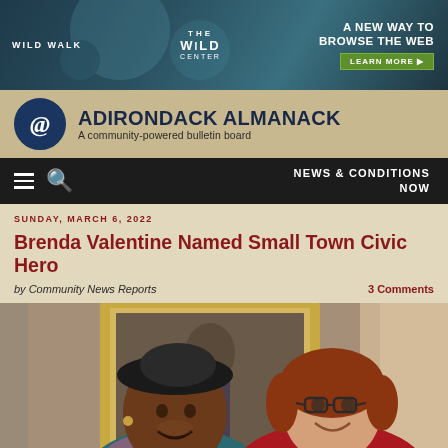[Figure (photo): Advertisement banner for Wild Walk and The Wild Center with text 'A NEW WAY TO BROWSE THE WEB' and a 'LEARN MORE' button, showing a nature/wildlife themed dark teal background]
ADIRONDACK ALMANACK
A community-powered bulletin board
NEWS & CONDITIONS NOW
SUNDAY, MARCH 6, 2022
Brenda Valentine Named Small Town Civic Hero
by Community News Reports   3 Comments
[Figure (photo): Photo of two women smiling together indoors, one wearing a black hat and teal top, the other with red hair and glasses wearing a red sweater, in front of a framed portrait painting]